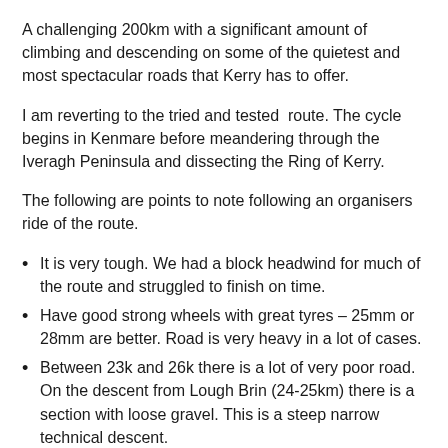A challenging 200km with a significant amount of climbing and descending on some of the quietest and most spectacular roads that Kerry has to offer.
I am reverting to the tried and tested route. The cycle begins in Kenmare before meandering through the Iveragh Peninsula and dissecting the Ring of Kerry.
The following are points to note following an organisers ride of the route.
It is very tough. We had a block headwind for much of the route and struggled to finish on time.
Have good strong wheels with great tyres – 25mm or 28mm are better. Road is very heavy in a lot of cases.
Between 23k and 26k there is a lot of very poor road. On the descent from Lough Brin (24-25km) there is a section with loose gravel. This is a steep narrow technical descent.
Use caution and common sense